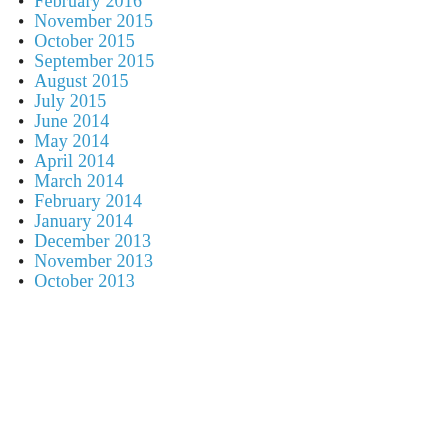February 2016
November 2015
October 2015
September 2015
August 2015
July 2015
June 2014
May 2014
April 2014
March 2014
February 2014
January 2014
December 2013
November 2013
October 2013